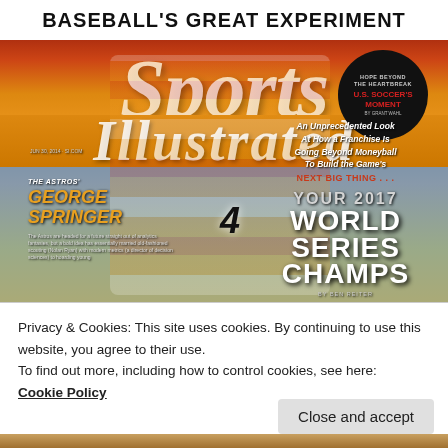[Figure (photo): Sports Illustrated magazine cover featuring George Springer of the Houston Astros in a retro rainbow uniform swinging a bat. The cover headline reads 'Baseball's Great Experiment' and includes text about 'Your 2017 World Series Champs' and various teaser lines. A black circle inset promotes U.S. Soccer's Moment.]
Privacy & Cookies: This site uses cookies. By continuing to use this website, you agree to their use.
To find out more, including how to control cookies, see here:
Cookie Policy
Close and accept